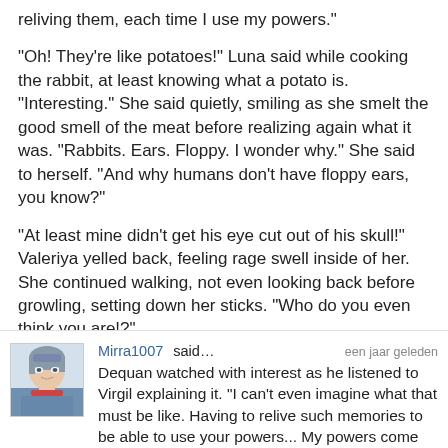reliving them, each time I use my powers."
"Oh! They're like potatoes!" Luna said while cooking the rabbit, at least knowing what a potato is. "Interesting." She said quietly, smiling as she smelt the good smell of the meat before realizing again what it was. "Rabbits. Ears. Floppy. I wonder why." She said to herself. "And why humans don't have floppy ears, you know?"
"At least mine didn't get his eye cut out of his skull!" Valeriya yelled back, feeling rage swell inside of her. She continued walking, not even looking back before growling, setting down her sticks. "Who do you even think you are!?"
[Figure (illustration): Anime-style avatar illustration of a character with blue-gray hair]
Mirra1007 said… een jaar geleden
Dequan watched with interest as he listened to Virgil explaining it. "I can't even imagine what that must be like. Having to relive such memories to be able to use your powers... My powers come from the